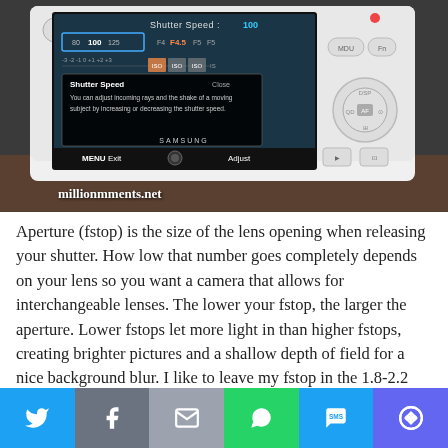[Figure (photo): A Samsung mirrorless camera showing its LCD screen with Shutter Speed settings menu. The screen displays 'Shutter Speed: 100' at the top, a selector dial showing values 80, 100, 125 and F4.5, a popup explaining shutter speed adjustment, and MENU Exit / Adjust controls at the bottom. A watermark 'millionmments.net' appears at the bottom left of the photo.]
Aperture (fstop) is the size of the lens opening when releasing your shutter.  How low that number goes completely depends on your lens so you want a camera that allows for interchangeable lenses.  The lower your fstop, the larger the aperture.  Lower fstops let more light in than higher fstops, creating brighter pictures and a shallow depth of field for a nice background blur.  I like to leave my fstop in the 1.8-2.2